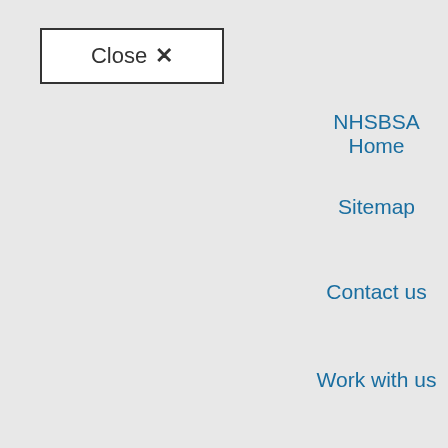Close ✕
NHSBSA Home
Sitemap
Contact us
Work with us
sponse to coronavirus (COVID-19)
operly. We'd also ut how you use our our website and
se, visit our
Privacy
Cookies
Accessibility statement
Terms and conditions
Freedom of Information
p function. Our